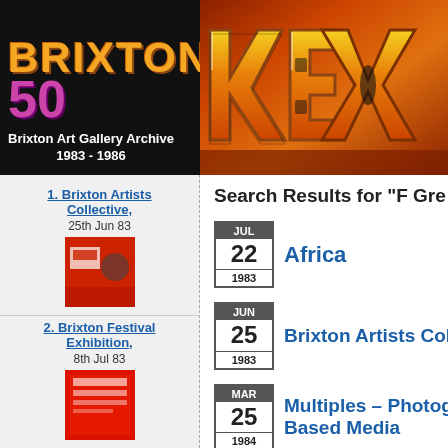[Figure (screenshot): Brixton Art Gallery Archive website header with 'BRIXTON 50' logo on dark background on the left, and graffiti art photograph on the right. Subtitle reads 'Brixton Art Gallery Archive 1983 - 1986'.]
1. Brixton Artists Collective, 25th Jun 83
2. Brixton Festival Exhibition, 8th Jul 83
3. Africa, 22nd Jul 83
Search Results for "F Gre"
JUL 22 1983 Africa
JUN 25 1983 Brixton Artists Colle
MAR 25 1984 Multiples – Photogra Based Media